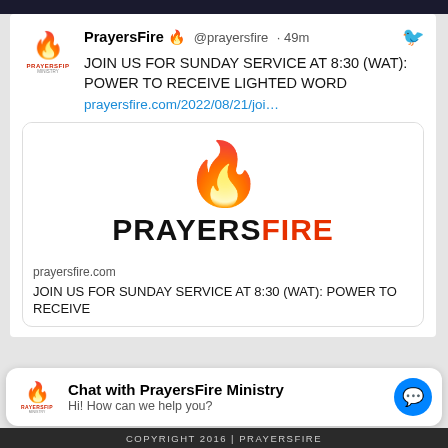[Figure (screenshot): Twitter/social media post by PrayersFire (@prayersfire) posted 49 minutes ago with tweet text 'JOIN US FOR SUNDAY SERVICE AT 8:30 (WAT): POWER TO RECEIVE LIGHTED WORD' and a link preview card showing the PrayersFire logo (flame/dove) and PRAYERSFIRE branding with prayersfire.com domain and truncated title.]
PrayersFire 🔥 @prayersfire · 49m
JOIN US FOR SUNDAY SERVICE AT 8:30 (WAT): POWER TO RECEIVE LIGHTED WORD
prayersfire.com/2022/08/21/joi…
prayersfire.com
JOIN US FOR SUNDAY SERVICE AT 8:30 (WAT): POWER TO RECEIVE
Chat with PrayersFire Ministry
Hi! How can we help you?
COPYRIGHT 2016 | PRAYERSFIRE